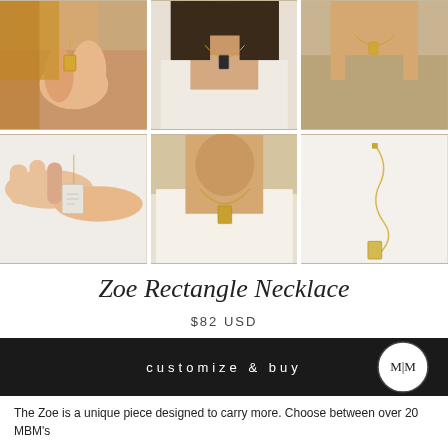[Figure (photo): 6-photo grid of Zoe Rectangle Necklace product shots: women wearing gold rectangle pendant necklaces]
Zoe Rectangle Necklace
$82 USD
customize & buy
The Zoe is a unique piece designed to carry more. Choose between over 20 MBM's